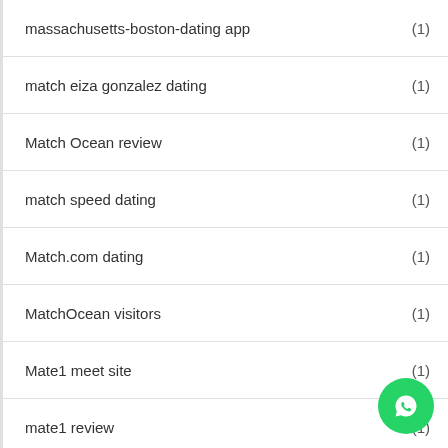massachusetts-boston-dating app (1)
match eiza gonzalez dating (1)
Match Ocean review (1)
match speed dating (1)
Match.com dating (1)
MatchOcean visitors (1)
Mate1 meet site (1)
mate1 review (1)
Mature Dating commenti (1)
Mature Dating review (1)
Mature Quality Singles visitors